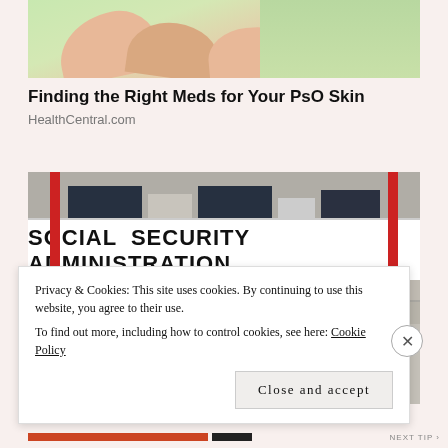[Figure (photo): Close-up of hands with green/skin-tone background, related to skin condition article]
Finding the Right Meds for Your PsO Skin
HealthCentral.com
[Figure (photo): Photograph of a Social Security Administration building exterior showing the large white banner sign with bold black letters reading SOCIAL SECURITY ADMINISTRATION, with red poles on each side and glass doors below]
Privacy & Cookies: This site uses cookies. By continuing to use this website, you agree to their use.
To find out more, including how to control cookies, see here: Cookie Policy
Close and accept